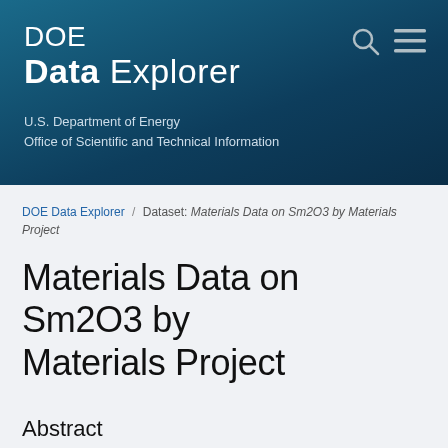DOE Data Explorer
U.S. Department of Energy
Office of Scientific and Technical Information
DOE Data Explorer / Dataset: Materials Data on Sm2O3 by Materials Project
Materials Data on Sm2O3 by Materials Project
Abstract